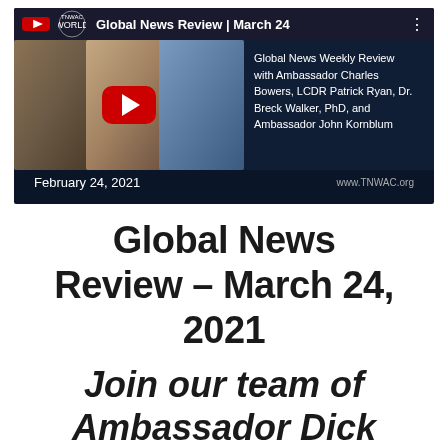[Figure (screenshot): YouTube video thumbnail for 'Global News Review | March 24' featuring three men on a dark blue background with a YouTube play button overlay. Text reads: 'Global News Weekly Review with Ambassador Charles Bowers, LCDR Patrick Ryan, Dr. Breck Walker, PhD, and Ambassador John Kornblum'. Date: February 24, 2021. URL: www.TNWAC.org]
Global News Review – March 24, 2021
Join our team of Ambassador Dick